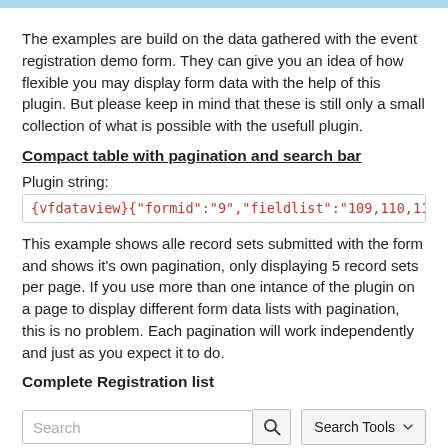The examples are build on the data gathered with the event registration demo form. They can give you an idea of how flexible you may display form data with the help of this plugin. But please keep in mind that these is still only a small collection of what is possible with the usefull plugin.
Compact table with pagination and search bar
Plugin string:
{vfdataview}{"formid":"9","fieldlist":"109,110,111,112,113"
This example shows alle record sets submitted with the form and shows it's own pagination, only displaying 5 record sets per page. If you use more than one intance of the plugin on a page to display different form data lists with pagination, this is no problem. Each pagination will work independently and just as you expect it to do.
Complete Registration list
[Figure (screenshot): Search bar with text input, search button icon, and Search Tools dropdown button, plus a Clear button below]